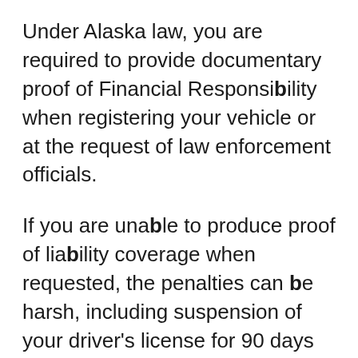Under Alaska law, you are required to provide documentary proof of Financial Responsibility when registering your vehicle or at the request of law enforcement officials.
If you are unable to produce proof of liability coverage when requested, the penalties can be harsh, including suspension of your driver's license for 90 days to one year.
If you are unable to produce proof of liability coverage when requested, the penalties can be harsh, ranging from fines...